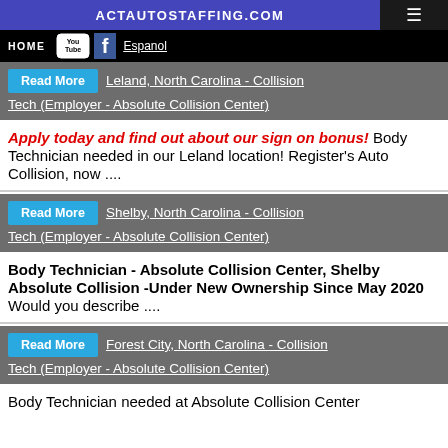ACTAUTOSTAFFING.COM
HOME  Espanol
Read More  Leland, North Carolina - Collision Tech (Employer - Absolute Collision Center)
Apply today and find out about our sign on bonus! Body Technician needed in our Leland location! Register's Auto Collision, now ....
Read More  Shelby, North Carolina - Collision Tech (Employer - Absolute Collision Center)
Body Technician - Absolute Collision Center, Shelby Absolute Collision -Under New Ownership Since May 2020  Would you describe ....
Read More  Forest City, North Carolina - Collision Tech (Employer - Absolute Collision Center)
Body Technician needed at Absolute Collision Center